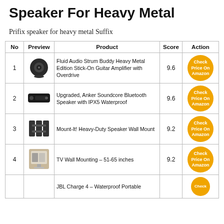Speaker For Heavy Metal
Prifix speaker for heavy metal Suffix
| No | Preview | Product | Score | Action |
| --- | --- | --- | --- | --- |
| 1 | [img] | Fluid Audio Strum Buddy Heavy Metal Edition Stick-On Guitar Amplifier with Overdrive | 9.6 | Check Price On Amazon |
| 2 | [img] | Upgraded, Anker Soundcore Bluetooth Speaker with IPX5 Waterproof | 9.6 | Check Price On Amazon |
| 3 | [img] | Mount-It! Heavy-Duty Speaker Wall Mount | 9.2 | Check Price On Amazon |
| 4 | [img] | TV Wall Mounting - 51-65 inches | 9.2 | Check Price On Amazon |
| 5 | [img] | JBL Charge 4 - Waterproof Portable |  | Check |